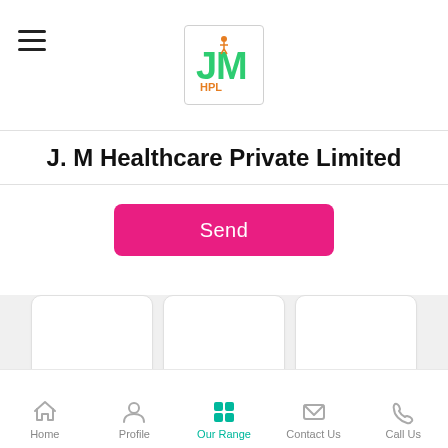[Figure (logo): JM HPL logo in a bordered box, green and orange stylized letters]
J. M Healthcare Private Limited
Send
SMS
Email
Call Us
08046052735
Home  Profile  Our Range  Contact Us  Call Us